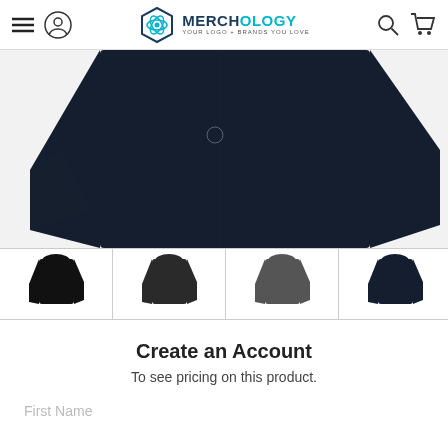Merchology - Your Logo + Brands You Love
[Figure (photo): Close-up of a dark navy fleece pullover/hoodie showing the upper body and sleeves, displayed on a white background.]
[Figure (photo): Four product thumbnail images showing the same hoodie/jacket style in black, dark charcoal, medium grey, and navy blue colorways.]
Create an Account
To see pricing on this product.
First Name